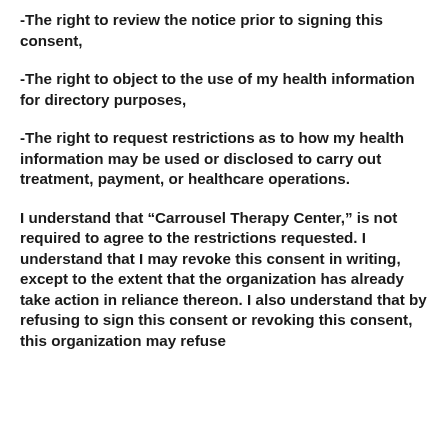-The right to review the notice prior to signing this consent,
-The right to object to the use of my health information for directory purposes,
-The right to request restrictions as to how my health information may be used or disclosed to carry out treatment, payment, or healthcare operations.
I understand that “Carrousel Therapy Center,” is not required to agree to the restrictions requested. I understand that I may revoke this consent in writing, except to the extent that the organization has already take action in reliance thereon. I also understand that by refusing to sign this consent or revoking this consent, this organization may refuse